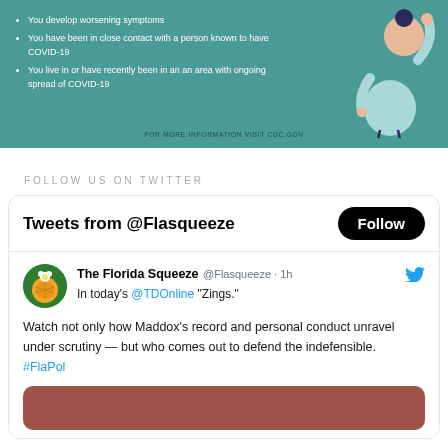[Figure (illustration): CDC COVID-19 informational banner in teal showing bullet points about symptoms and a illustrated figure of a person in blue clothing. Footer text reads FOR MORE INFORMATION VISIT CDC.GOV]
FOLLOW US ON TWITTER
[Figure (screenshot): Twitter widget showing tweets from @Flasqueeze with a Follow button. Tweet by The Florida Squeeze @Flasqueeze 1h: In today's @TDOnline Zings. Watch not only how Maddox's record and personal conduct unravel under scrutiny — but who comes out to defend the indefensible. #FlaPol. Followed by a reddish-brown image preview.]